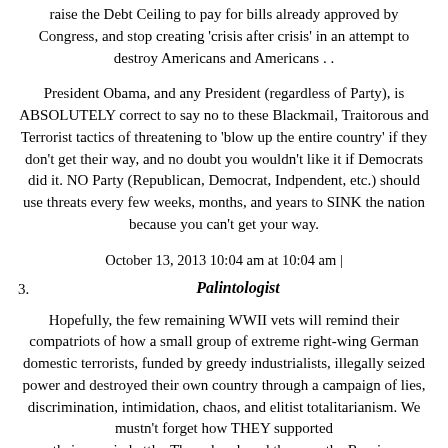raise the Debt Ceiling to pay for bills already approved by Congress, and stop creating 'crisis after crisis' in an attempt to destroy Americans and Americans . .
President Obama, and any President (regardless of Party), is ABSOLUTELY correct to say no to these Blackmail, Traitorous and Terrorist tactics of threatening to 'blow up the entire country' if they don't get their way, and no doubt you wouldn't like it if Democrats did it. NO Party (Republican, Democrat, Indpendent, etc.) should use threats every few weeks, months, and years to SINK the nation because you can't get your way.
October 13, 2013 10:04 am at 10:04 am |
3. Palintologist
Hopefully, the few remaining WWII vets will remind their compatriots of how a small group of extreme right-wing German domestic terrorists, funded by greedy industrialists, illegally seized power and destroyed their own country through a campaign of lies, discrimination, intimidation, chaos, and elitist totalitarianism. We mustn't forget how THEY supported their men in battle: They abandoned them on the Russian front, and let them FREEZE TO DEATH! Now they support